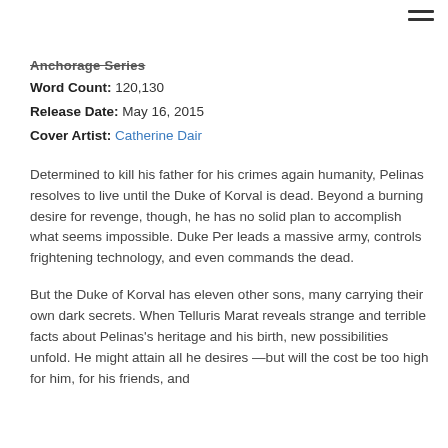Anchorage Series
Word Count: 120,130
Release Date: May 16, 2015
Cover Artist: Catherine Dair
Determined to kill his father for his crimes again humanity, Pelinas resolves to live until the Duke of Korval is dead. Beyond a burning desire for revenge, though, he has no solid plan to accomplish what seems impossible. Duke Per leads a massive army, controls frightening technology, and even commands the dead.
But the Duke of Korval has eleven other sons, many carrying their own dark secrets. When Telluris Marat reveals strange and terrible facts about Pelinas's heritage and his birth, new possibilities unfold. He might attain all he desires —but will the cost be too high for him, for his friends, and